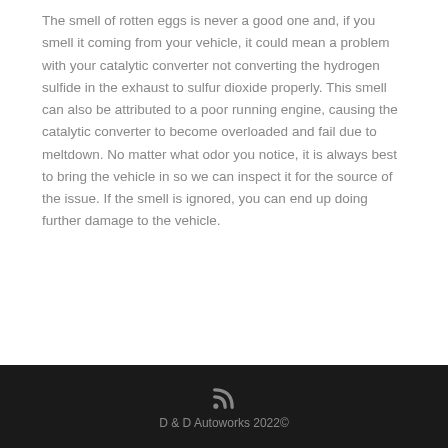The smell of rotten eggs is never a good one and, if you smell it coming from your vehicle, it could mean a problem with your catalytic converter not converting the hydrogen sulfide in the exhaust to sulfur dioxide properly. This smell can also be attributed to a poor running engine, causing the catalytic converter to become overloaded and fail due to meltdown. No matter what odor you notice, it is always best to bring the vehicle in so we can inspect it for the source of the issue. If the smell is ignored, you can end up doing further damage to the vehicle.
D & D Autoworks 2022©